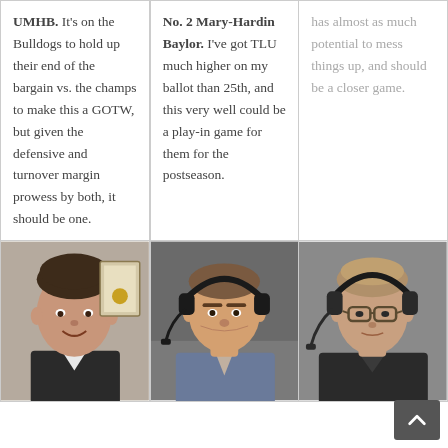| Column 1 | Column 2 | Column 3 |
| --- | --- | --- |
| UMHB. It's on the Bulldogs to hold up their end of the bargain vs. the champs to make this a GOTW, but given the defensive and turnover margin prowess by both, it should be one. | No. 2 Mary-Hardin Baylor. I've got TLU much higher on my ballot than 25th, and this very well could be a play-in game for them for the postseason. | has almost as much potential to mess things up, and should be a closer game. |
[Figure (photo): Headshot of a man in a suit smiling at the camera, indoors.]
[Figure (photo): Man wearing headset/headphones, side profile, broadcasting.]
[Figure (photo): Man wearing glasses and headset, looking at the camera.]